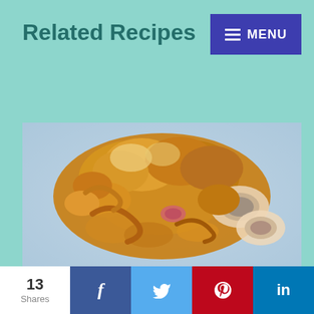Related Recipes
[Figure (photo): Fried spicy calamari rings and pieces on a blue and white patterned plate]
Spicy Calamari
SQUID | CEPHALOPODS
♡ 30
13 Shares  f  🐦  ⓟ  in